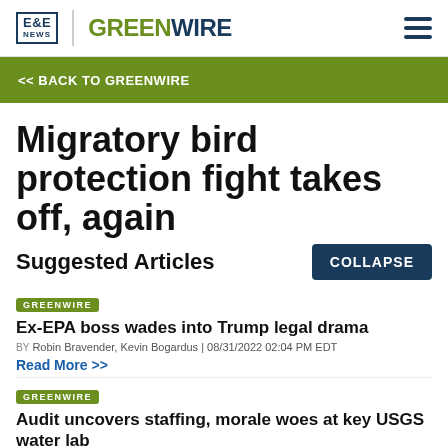E&E NEWS | GREENWIRE
<< BACK TO GREENWIRE
Migratory bird protection fight takes off, again
Suggested Articles
GREENWIRE
Ex-EPA boss wades into Trump legal drama
BY Robin Bravender, Kevin Bogardus | 08/31/2022 02:04 PM EDT
Read More >>
GREENWIRE
Audit uncovers staffing, morale woes at key USGS water lab